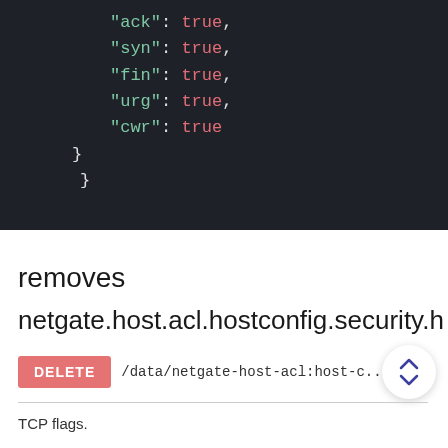[Figure (screenshot): Dark-themed code editor showing JSON snippet with keys 'ack', 'syn', 'fin', 'urg', 'cwr' all set to true, followed by two closing braces.]
removes netgate.host.acl.hostconfig.security.h
DELETE /data/netgate-host-acl:host-c...
TCP flags.